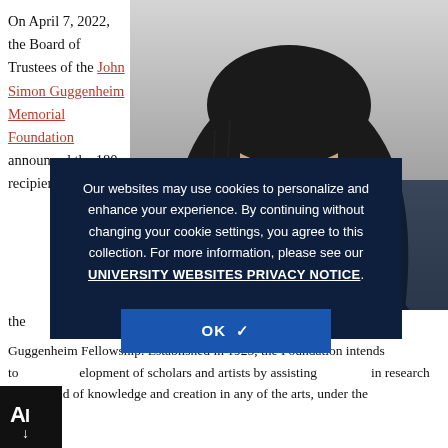On April 7, 2022, the Board of Trustees of the John Simon Guggenheim Memorial Foundation announced the 180 recipients of the Guggenheim Fellowship. Established in 1925, the Foundation intends to foster the development of scholars and artists by assisting them engage in research in any field of knowledge and creation in any of the arts, under the
[Figure (photo): Portrait photo of a person with dark long hair against a light background, partially obscured by dark overlay]
Our websites may use cookies to personalize and enhance your experience. By continuing without changing your cookie settings, you agree to this collection. For more information, please see our UNIVERSITY WEBSITES PRIVACY NOTICE.